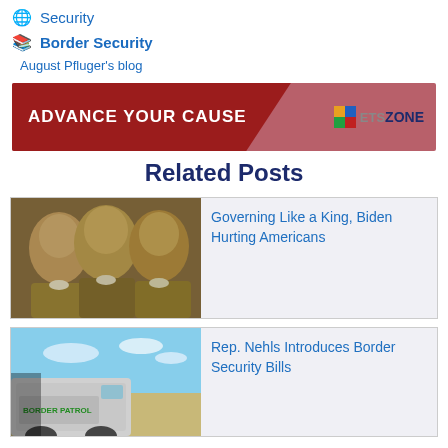Security
Border Security
August Pfluger's blog
[Figure (other): Banner advertisement: ADVANCE YOUR CAUSE with ETSZONE logo]
Related Posts
[Figure (photo): Portraits of three founding fathers side by side]
Governing Like a King, Biden Hurting Americans
[Figure (photo): Border Patrol vehicle with desert and sky background]
Rep. Nehls Introduces Border Security Bills